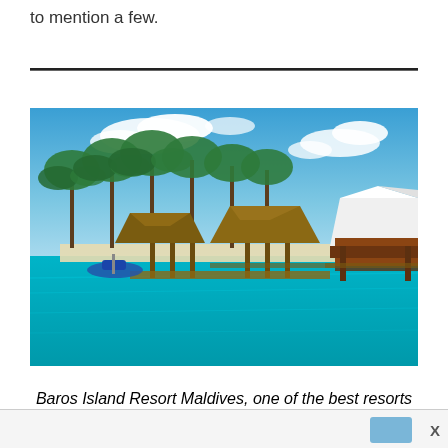to mention a few.
[Figure (photo): Baros Island Resort Maldives — overwater bungalows and a large pavilion on stilts over turquoise water, with tropical palm trees on a white-sand beach in the background under a bright blue sky with clouds.]
Baros Island Resort Maldives, one of the best resorts in Maldives